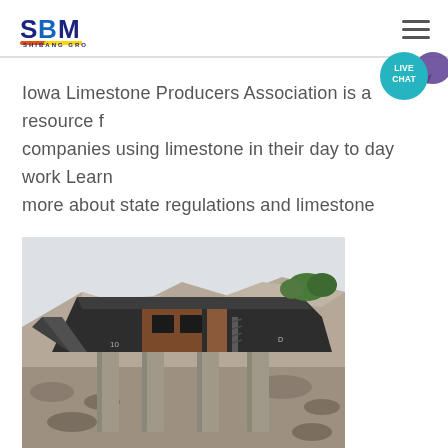SBM SHIBANG GROUP logo and navigation menu
Iowa Limestone Producers Association is a resource for companies using limestone in their day to day work Learn more about state regulations and limestone
[Figure (photo): Photograph of a limestone quarry processing facility with industrial machinery, conveyor structures, and concrete supports, set against a rocky hillside and overcast sky.]